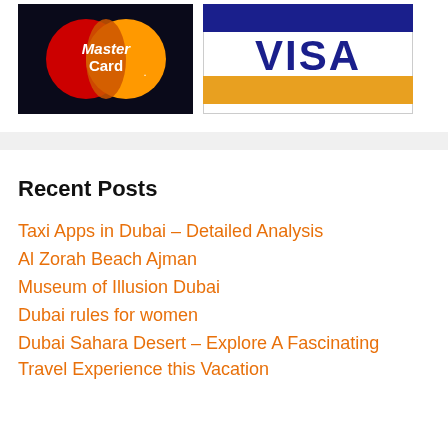[Figure (logo): MasterCard and Visa payment logos side by side]
Recent Posts
Taxi Apps in Dubai – Detailed Analysis
Al Zorah Beach Ajman
Museum of Illusion Dubai
Dubai rules for women
Dubai Sahara Desert – Explore A Fascinating Travel Experience this Vacation